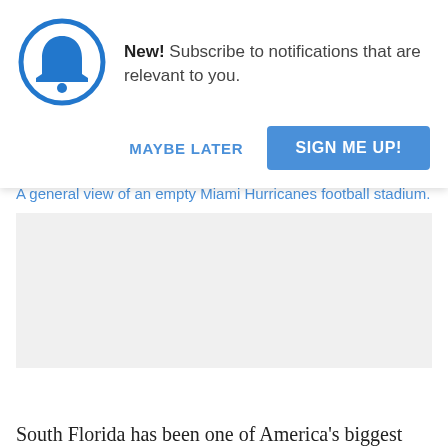New! Subscribe to notifications that are relevant to you.
MAYBE LATER
SIGN ME UP!
A general view of an empty Miami Hurricanes football stadium.
South Florida has been one of America's biggest